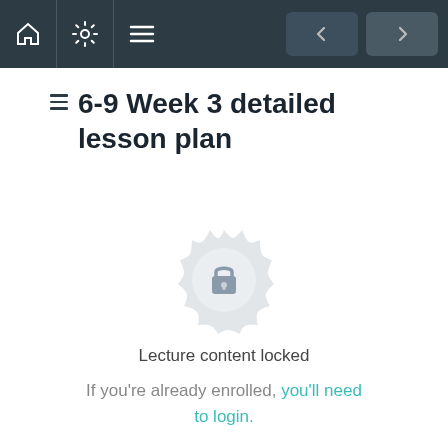Navigation bar with home, settings, menu icons and back/forward buttons
6-9 Week 3 detailed lesson plan
[Figure (illustration): Lock icon inside a decorative mandala/gear badge, indicating locked content]
Lecture content locked
If you're already enrolled, you'll need to login.